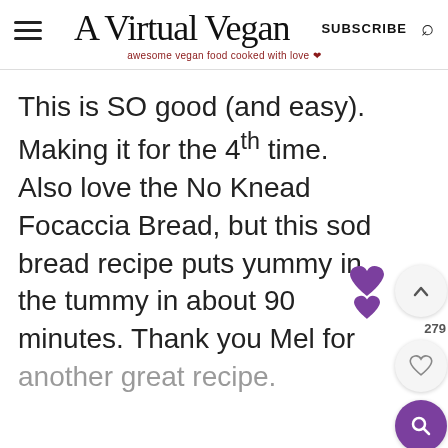A Virtual Vegan — awesome vegan food cooked with love
This is SO good (and easy). Making it for the 4th time. Also love the No Knead Focaccia Bread, but this sod bread recipe puts yummy in the tummy in about 90 minutes. Thank you Mel for another great recipe.